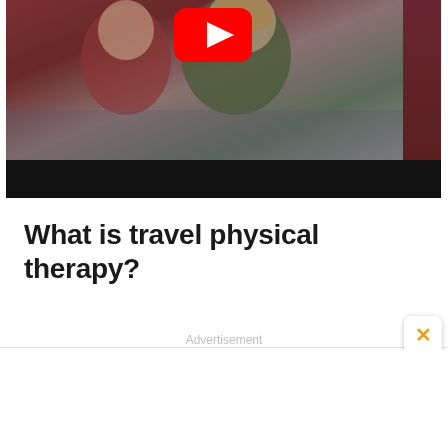[Figure (screenshot): YouTube video thumbnail showing two people (man in maroon shirt and woman in dark green shirt) sitting on a couch, with YouTube play button visible at top center and a dark bar at the bottom]
What is travel physical therapy?
Advertisement